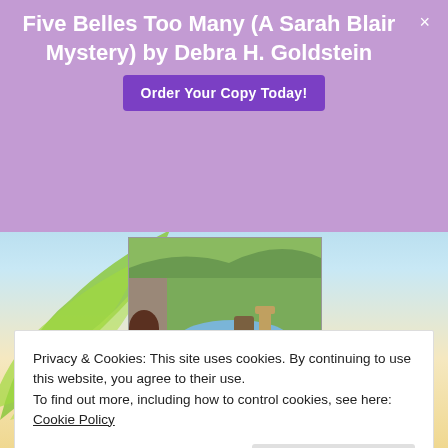Five Belles Too Many (A Sarah Blair Mystery) by Debra H. Goldstein
[Figure (screenshot): Purple banner ad with book title, order button, and close X; below is a decorative beach/garden background with palm leaves; book cover image (Ellery Adams garden mystery) in center; '3rd in Series' text; partially visible bottom book cover showing 'clock' text]
Privacy & Cookies: This site uses cookies. By continuing to use this website, you agree to their use.
To find out more, including how to control cookies, see here:
Cookie Policy
Close and accept